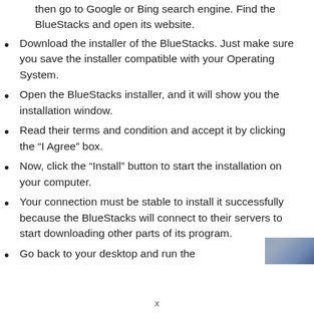then go to Google or Bing search engine. Find the BlueStacks and open its website.
Download the installer of the BlueStacks. Just make sure you save the installer compatible with your Operating System.
Open the BlueStacks installer, and it will show you the installation window.
Read their terms and condition and accept it by clicking the “I Agree” box.
Now, click the “Install” button to start the installation on your computer.
Your connection must be stable to install it successfully because the BlueStacks will connect to their servers to start downloading other parts of its program.
Go back to your desktop and run the